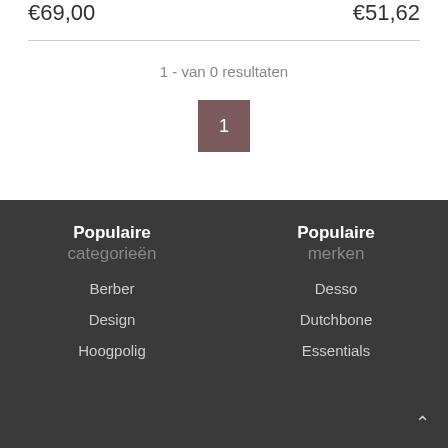€69,00
€51,62
1 - van 0 resultaten
1
Populaire categorieën
Populaire merken
Berber
Design
Hoogpolig
Desso
Dutchbone
Essentials